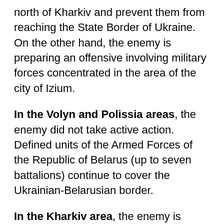north of Kharkiv and prevent them from reaching the State Border of Ukraine. On the other hand, the enemy is preparing an offensive involving military forces concentrated in the area of the city of Izium.
In the Volyn and Polissia areas, the enemy did not take active action. Defined units of the Armed Forces of the Republic of Belarus (up to seven battalions) continue to cover the Ukrainian-Belarusian border.
In the Kharkiv area, the enemy is concentrating its principal efforts on maintaining its positions and preventing the advance of Ukrainian troops in the direction of the State Border of Ukraine with the russian federation.
The enemies did not take action in the Sloviansk area. Instead, they reinforce units and replenish